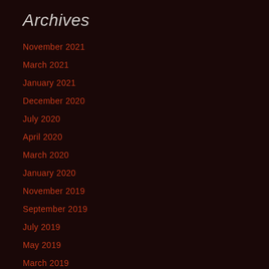Archives
November 2021
March 2021
January 2021
December 2020
July 2020
April 2020
March 2020
January 2020
November 2019
September 2019
July 2019
May 2019
March 2019